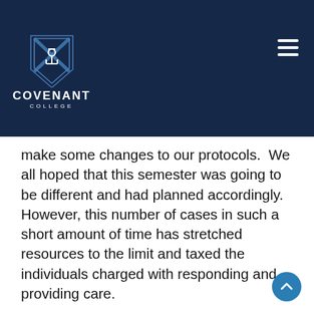[Figure (logo): Covenant College logo with shield emblem and white text on navy background header bar with hamburger menu icon]
make some changes to our protocols.  We all hoped that this semester was going to be different and had planned accordingly.  However, this number of cases in such a short amount of time has stretched resources to the limit and taxed the individuals charged with responding and providing care.
This matches what we are seeing locally in Chattanooga as well as in NW Georgia where the surge is being felt across the state.  We expected some cases to begin the year due to the high number of visitors to campus during Orientation and the return of students from around the world.  Coupled with the disruptions from...